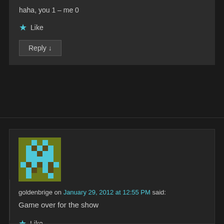haha, you 1 – me 0
★ Like
Reply ↓
[Figure (illustration): Pixel art avatar: olive green background with cyan/teal pixel character resembling a blocky robot face]
goldenbrige on January 29, 2012 at 12:55 PM said:
Game over for the show
★ Like
Reply ↓
[Figure (photo): Small square thumbnail photo of a person outdoors]
caramellokoala
on February 3, 2012 at 2:34 AM